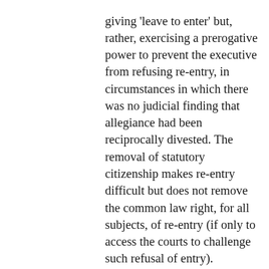giving 'leave to enter' but, rather, exercising a prerogative power to prevent the executive from refusing re-entry, in circumstances in which there was no judicial finding that allegiance had been reciprocally divested. The removal of statutory citizenship makes re-entry difficult but does not remove the common law right, for all subjects, of re-entry (if only to access the courts to challenge such refusal of entry).
In our view, a subject of Australia or the UK retains this constitutional right to re-entry. It makes sense because the UK